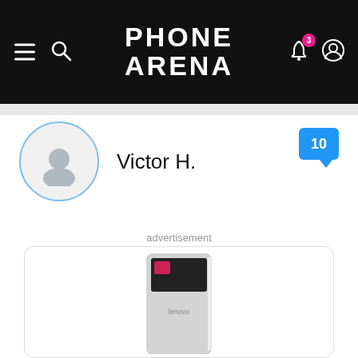PHONE ARENA
Victor H.
10
advertisement
[Figure (photo): Partial view of a Lenovo smartphone at the bottom of the page]